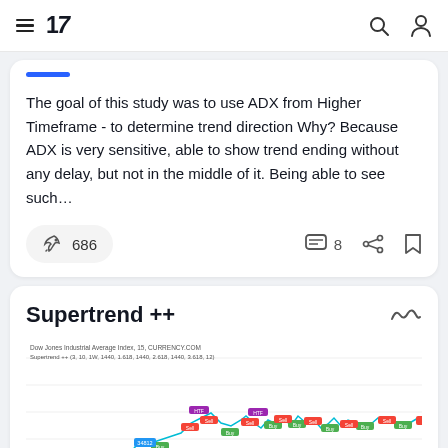TradingView navigation bar with menu, logo, search, and user icons
The goal of this study was to use ADX from Higher Timeframe - to determine trend direction Why? Because ADX is very sensitive, able to show trend ending without any delay, but not in the middle of it. Being able to see such...
[Figure (infographic): Boost button with rocket icon showing 686 boosts, comment icon showing 8 comments, share icon, and bookmark icon]
Supertrend ++
[Figure (continuous-plot): Dow Jones Industrial Average Index, 15, CURRENCY.COM chart with Supertrend ++ indicator showing multiple colored buy/sell signal labels (red and green) and a cyan price line with colored price markers, y-axis ranging approximately 33700 to 35200]